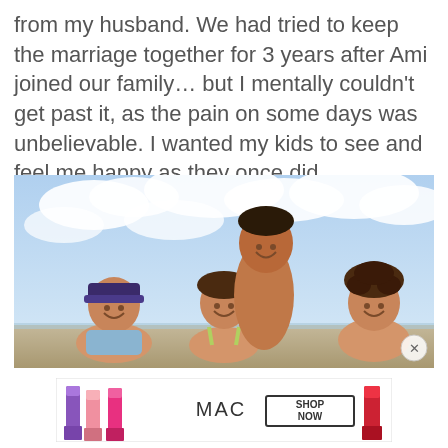from my husband. We had tried to keep the marriage together for 3 years after Ami joined our family… but I mentally couldn't get past it, as the pain on some days was unbelievable. I wanted my kids to see and feel me happy as they once did.
[Figure (photo): Three children at the beach smiling under a cloudy blue sky. One boy in a baseball cap on the left, a girl in a colorful swimsuit in the middle, a taller boy standing behind them, and another child with curly hair on the right. A small close/X button is visible in the bottom-right corner of the image.]
[Figure (photo): MAC Cosmetics advertisement banner showing multiple lipsticks in purple, pink, and red shades arranged on a white background, with the MAC logo and a 'SHOP NOW' button with a black border.]